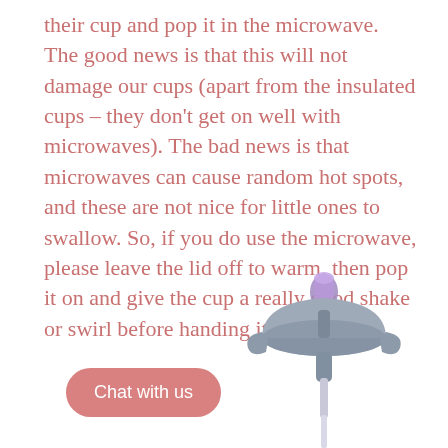their cup and pop it in the microwave. The good news is that this will not damage our cups (apart from the insulated cups – they don't get on well with microwaves). The bad news is that microwaves can cause random hot spots, and these are not nice for little ones to swallow. So, if you do use the microwave, please leave the lid off to warm, then pop it on and give the cup a really good shake or swirl before handing it over.
[Figure (photo): A gray drinking cup lid with a purple spout/valve on top, shown from above on a white background. A 'Chat with us' button in pink/rose color appears to the left of the lid.]